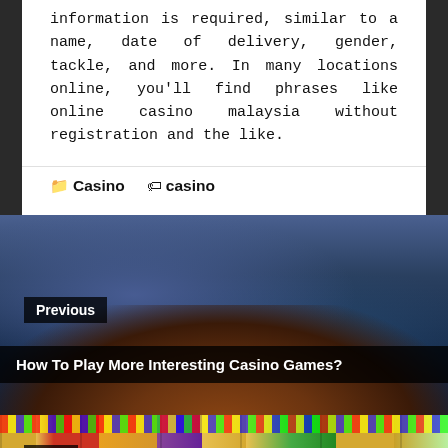information is required, similar to a name, date of delivery, gender, tackle, and more. In many locations online, you'll find phrases like online casino malaysia without registration and the like.
📁 Casino  🏷 casino
[Figure (photo): Casino roulette table with dealer's hands, navigation card labeled 'Previous' with title 'How To Play More Interesting Casino Games?']
[Figure (photo): Colorful slot machine game screen with cartoon characters, labeled 'Next']